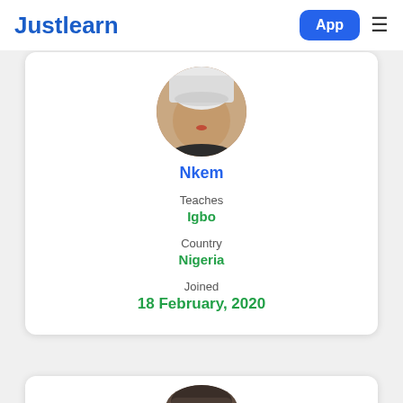Justlearn | App
[Figure (photo): Circular profile photo of Nkem, a woman with red lipstick wearing a white head covering]
Nkem
Teaches
Igbo
Country
Nigeria
Joined
18 February, 2020
[Figure (photo): Partial circular profile photo of a second tutor, partially visible at bottom of page]